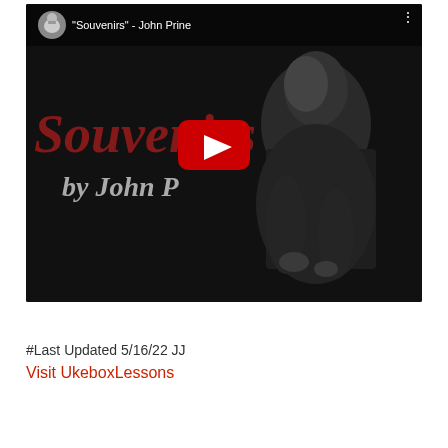[Figure (screenshot): YouTube video thumbnail showing 'Souvenirs' by John Prine. Black and white photo of a man seated, with 'Souvenirs' in dark red italic text and 'by John P' in gray italic text. A YouTube play button (red with white triangle) is centered on the thumbnail. Top bar shows channel avatar (chicken photo) and title '"Souvenirs" - John Prine'.]
#Last Updated 5/16/22 JJ
Visit UkeboxLessons